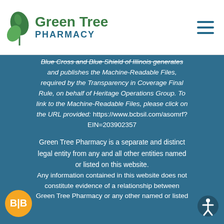Green Tree Pharmacy
Blue Cross and Blue Shield of Illinois generates and publishes the Machine-Readable Files, required by the Transparency in Coverage Final Rule, on behalf of Heritage Operations Group. To link to the Machine-Readable Files, please click on the URL provided: https://www.bcbsil.com/asomrf?EIN=203902357
Green Tree Pharmacy is a separate and distinct legal entity from any and all other entities named or listed on this website.
Any information contained in this website does not constitute evidence of a relationship between Green Tree Pharmacy or any other named or listed